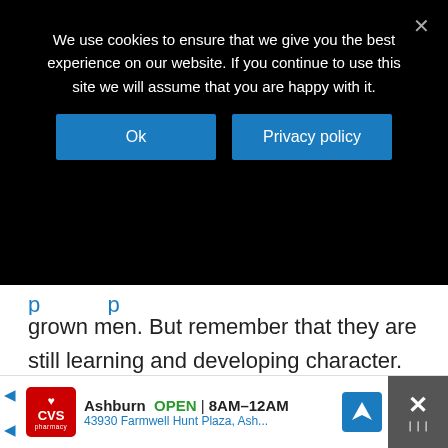We use cookies to ensure that we give you the best experience on our website. If you continue to use this site we will assume that you are happy with it.
[Figure (screenshot): Cookie consent popup with Ok and Privacy policy buttons on dark background, and an advertisement banner at the bottom for CVS Pharmacy in Ashburn showing OPEN 8AM-12AM and address 43930 Farmwell Hunt Plaza, Ash...]
grown men. But remember that they are still learning and developing character.
Remember how you acted and what you felt like as a teenager. If you're like most of us, you probably felt lazy and unmotivated the same way your son does – at least from time to time.